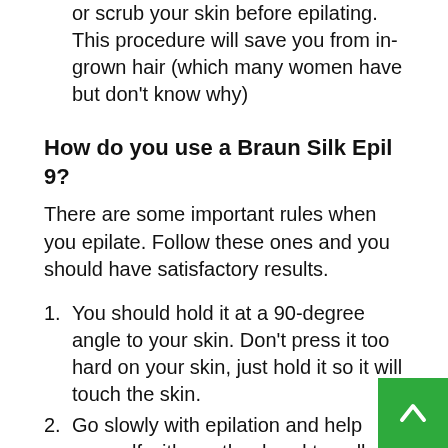or scrub your skin before epilating. This procedure will save you from in-grown hair (which many women have but don't know why)
How do you use a Braun Silk Epil 9?
There are some important rules when you epilate. Follow these ones and you should have satisfactory results.
1. You should hold it at a 90-degree angle to your skin. Don't press it too hard on your skin, just hold it so it will touch the skin.
2. Go slowly with epilation and help yourself with another hand to pull your skin tight it's easier for the device to glide over the